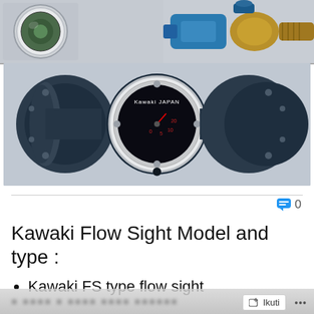[Figure (photo): Top section showing two smaller Kawaki flow sight product photos (a circular window-type sight glass on the left and a brass/bronze valve on the upper right), plus a large center photo of a Kawaki flanged flow sight meter with a round dial gauge face labeled 'Kawaki Japan' mounted between two large flanged pipe ends.]
💬 0
Kawaki Flow Sight Model and type :
Kawaki FS type flow sight